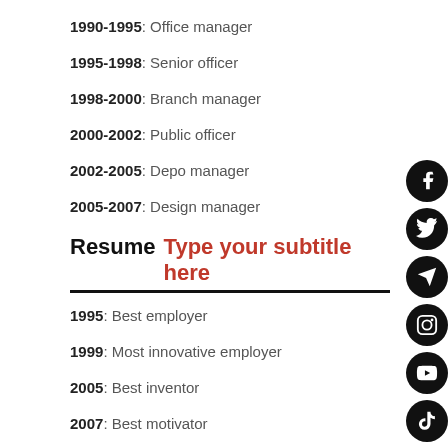1990-1995: Office manager
1995-1998: Senior officer
1998-2000: Branch manager
2000-2002: Public officer
2002-2005: Depo manager
2005-2007: Design manager
Resume  Type your subtitle here
1995: Best employer
1999: Most innovative employer
2005: Best inventor
2007: Best motivator